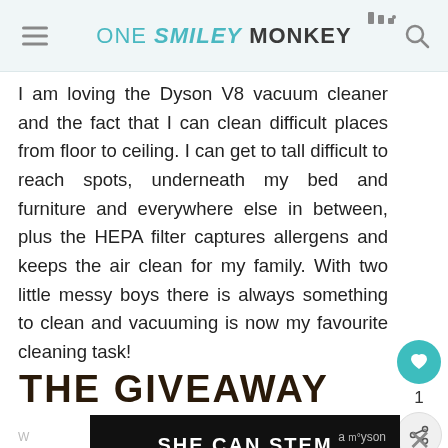ONE SMILEY MONKEY
I am loving the Dyson V8 vacuum cleaner and the fact that I can clean difficult places from floor to ceiling. I can get to tall difficult to reach spots, underneath my bed and furniture and everywhere else in between, plus the HEPA filter captures allergens and keeps the air clean for my family. With two little messy boys there is always something to clean and vacuuming is now my favourite cleaning task!
THE GIVEAWAY
[Figure (other): Advertisement banner with black background and white bold text reading SHE CAN STEM]